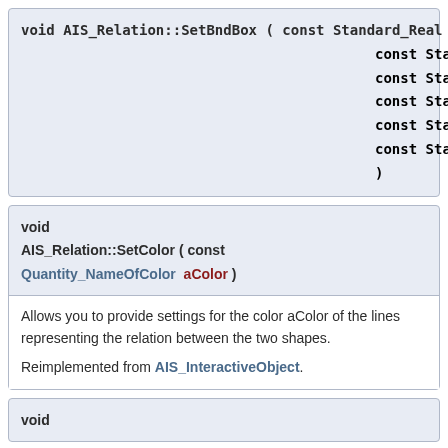[Figure (other): Code signature box: void AIS_Relation::SetBndBox ( const Standard_Real Xmin, const Standard_Real Ymin, const Standard_Real Zmin, const Standard_Real Xmax, const Standard_Real Ymax, const Standard_Real Zmax )]
[Figure (other): Code signature box with description: void AIS_Relation::SetColor ( const Quantity_NameOfColor aColor ). Allows you to provide settings for the color aColor of the lines representing the relation between the two shapes. Reimplemented from AIS_InteractiveObject.]
[Figure (other): Code signature box beginning: void]